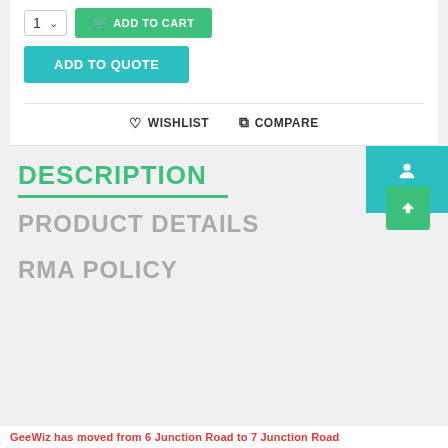[Figure (screenshot): E-commerce product page showing quantity selector, ADD TO CART button (green), ADD TO QUOTE button (teal), WISHLIST and COMPARE links, DESCRIPTION section header in green, PRODUCT DETAILS section header in gray, RMA POLICY section header in gray, Sign In floating button, and a notification bar reading 'GeeWiz has moved from 6 Junction Road to 7 Junction Road']